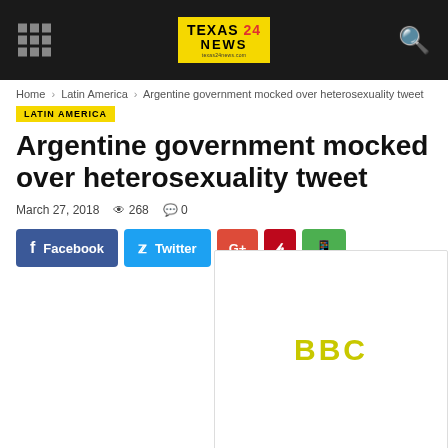Texas 24 News
Home > Latin America > Argentine government mocked over heterosexuality tweet
LATIN AMERICA
Argentine government mocked over heterosexuality tweet
March 27, 2018   268   0
[Figure (screenshot): Social share buttons: Facebook, Twitter, Google+, Pinterest, WhatsApp]
[Figure (logo): BBC advertisement card with yellow BBC text on white background]